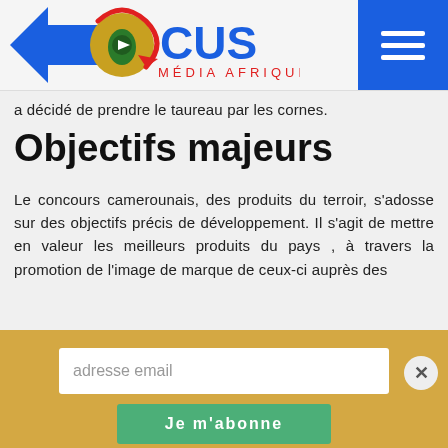[Figure (logo): Focus Média Afrique logo with globe and arrow, blue and red text]
a décidé de prendre le taureau par les cornes.
Objectifs majeurs
Le concours camerounais, des produits du terroir, s'adosse sur des objectifs précis de développement. Il s'agit de mettre en valeur les meilleurs produits du pays , à travers la promotion de l'image de marque de ceux-ci auprès des